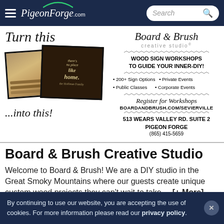PigeonForge.com — Search
[Figure (photo): Board & Brush Creative Studio advertisement showing wood planks and finished wood sign reading 'there's no place like home', with text: 'Turn this...into this!', 'WOOD SIGN WORKSHOPS TO GUIDE YOUR INNER-DIY!', '200+ Sign Options', 'Private Events', 'Public Classes', 'Corporate Events', 'Register for Workshops', 'BOARDANDBRUSH.COM/SEVIERVILLE', '513 WEARS VALLEY RD. SUITE 2 PIGEON FORGE', '(865) 415-5659']
Board & Brush Creative Studio
Welcome to Board & Brush! We are a DIY studio in the Great Smoky Mountains where our guests create unique custom wood projects they can't wait to take...  [+ More]
By continuing to use our website, you are accepting the use of cookies. For more information please read our privacy policy.